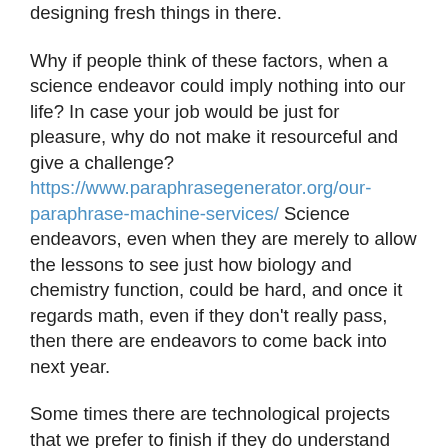designing fresh things in there.
Why if people think of these factors, when a science endeavor could imply nothing into our life? In case your job would be just for pleasure, why do not make it resourceful and give a challenge? https://www.paraphrasegenerator.org/our-paraphrase-machine-services/ Science endeavors, even when they are merely to allow the lessons to see just how biology and chemistry function, could be hard, and once it regards math, even if they don't really pass, then there are endeavors to come back into next year.
Some times there are technological projects that we prefer to finish if they do understand the notions of these. One case of the project which you might dois that your person I will talk about in this guide. Is about the great things about using a science job layout for your own science undertaking.